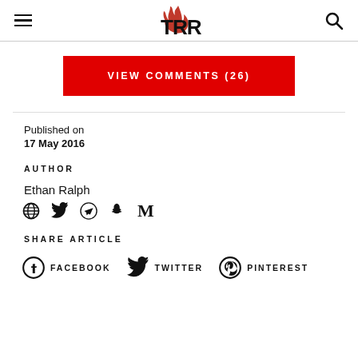TRR logo, hamburger menu, search icon
VIEW COMMENTS (26)
Published on
17 May 2016
AUTHOR
Ethan Ralph
SHARE ARTICLE
FACEBOOK   TWITTER   PINTEREST